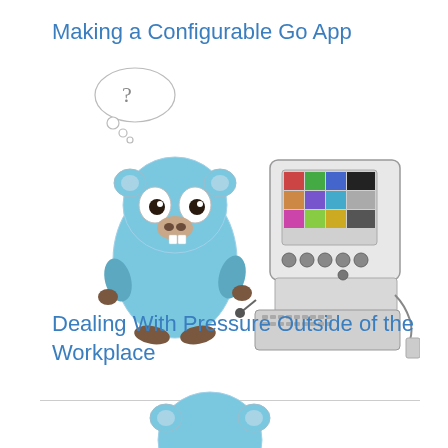Making a Configurable Go App
[Figure (illustration): Hand-drawn illustration of the Go gopher mascot (light blue, bear-like character with big eyes and small nose) looking at a vintage computer terminal/control panel with colorful buttons on screen. The gopher has a thought bubble with a question mark above its head.]
Dealing With Pressure Outside of the Workplace
[Figure (illustration): Partial view of the Go gopher mascot (light blue) at the bottom of the page, cropped.]